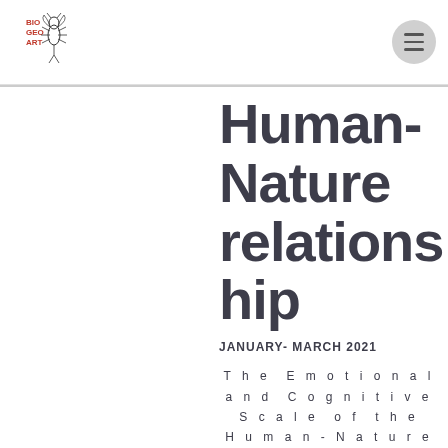[Figure (logo): BioGeoArt logo with insect illustration and text BIO GEO ART in red]
Human-Nature relationship
JANUARY- MARCH 2021
The Emotional and Cognitive Scale of the Human-Nature Relationship (ECS-HNR)